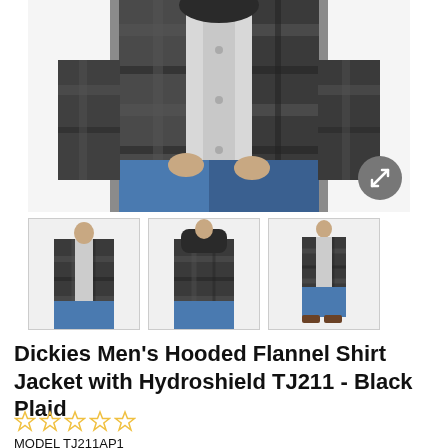[Figure (photo): Main product photo showing a man's torso wearing a black plaid hooded flannel shirt jacket over a white t-shirt with jeans, cropped at chest and upper thigh level. Grey expand icon in lower right of image.]
[Figure (photo): Three thumbnail images of the product: front view of man wearing black plaid jacket, back view of man wearing black plaid jacket with visible hood, and full-body side view of man wearing the jacket with jeans and brown boots.]
Dickies Men's Hooded Flannel Shirt Jacket with Hydroshield TJ211 - Black Plaid
[Figure (other): Five empty yellow star rating icons indicating no reviews yet]
MODEL TJ211AP1